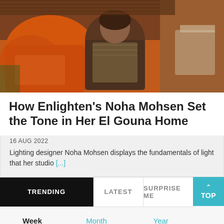[Figure (photo): A woman sitting on an orange couch with cushions in a warmly lit interior, wearing a patterned outfit, in what appears to be a home setting with brown walls and furniture.]
How Enlighten's Noha Mohsen Set the Tone in Her El Gouna Home
16 AUG 2022
Lighting designer Noha Mohsen displays the fundamentals of light that her studio [...]